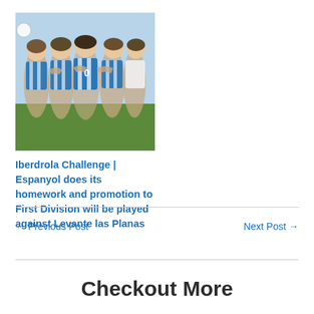[Figure (photo): Women's football team players in blue and white striped jerseys celebrating or huddling together on a football pitch]
Iberdrola Challenge | Espanyol does its homework and promotion to First Division will be played against Levante las Planas
← Previous Post
Next Post →
Checkout More